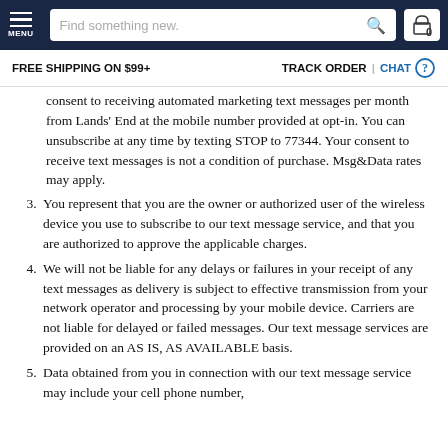MENU | Find something new. | 0
FREE SHIPPING ON $99+   TRACK ORDER | CHAT
consent to receiving automated marketing text messages per month from Lands' End at the mobile number provided at opt-in. You can unsubscribe at any time by texting STOP to 77344. Your consent to receive text messages is not a condition of purchase. Msg&Data rates may apply.
3. You represent that you are the owner or authorized user of the wireless device you use to subscribe to our text message service, and that you are authorized to approve the applicable charges.
4. We will not be liable for any delays or failures in your receipt of any text messages as delivery is subject to effective transmission from your network operator and processing by your mobile device. Carriers are not liable for delayed or failed messages. Our text message services are provided on an AS IS, AS AVAILABLE basis.
5. Data obtained from you in connection with our text message service may include your cell phone number,